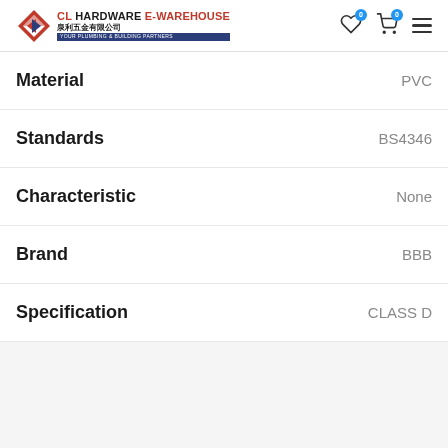[Figure (logo): CL Hardware E-Warehouse logo with red diamond shape, company name in red and black, Chinese characters 泉利五金有限公司, and tagline YOUR PLUMBING & BUILDING PARTNERS]
| Attribute | Value |
| --- | --- |
| Material | PVC |
| Standards | BS4346 |
| Characteristic | None |
| Brand | BBB |
| Specification | CLASS D |